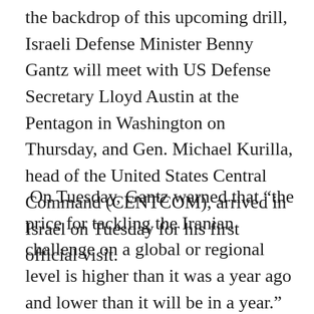the backdrop of this upcoming drill, Israeli Defense Minister Benny Gantz will meet with US Defense Secretary Lloyd Austin at the Pentagon in Washington on Thursday, and Gen. Michael Kurilla, head of the United States Central Command (CENTCOM), arrived in Israel on Tuesday for his first official visit.
On Tuesday, Gantz warned that “the price for tackling the Iranian challenge on a global or regional level is higher than it was a year ago and lower than it will be in a year.” The Israeli defense minister said Iran was just a “few weeks” away from amassing